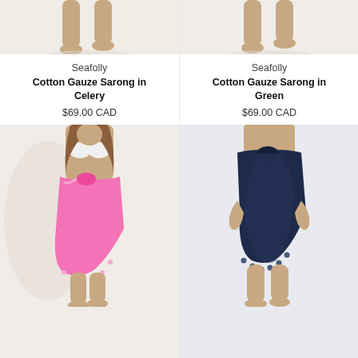[Figure (photo): Cropped photo of model's legs wearing a sarong, light background]
Seafolly
Cotton Gauze Sarong in Celery
$69.00 CAD
[Figure (photo): Cropped photo of model's legs wearing a sarong, light background]
Seafolly
Cotton Gauze Sarong in Green
$69.00 CAD
[Figure (photo): Model wearing white bikini top and pink cotton gauze sarong with pom-pom trim]
[Figure (photo): Model wearing navy blue cotton gauze sarong with pom-pom trim, cropped to show torso and skirt]